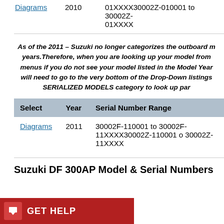| Select | Year | Serial Number Range |
| --- | --- | --- |
| Diagrams | 2010 | 01XXXX30002Z-010001 to 30002Z-01XXXX |
As of the 2011 – Suzuki no longer categorizes the outboard motors by model years.Therefore, when you are looking up your model from the drop-down menus if you do not see your model listed in the Model Year category, you will need to go to the very bottom of the Drop-Down listings and find the SERIALIZED MODELS category to look up parts.
| Select | Year | Serial Number Range |
| --- | --- | --- |
| Diagrams | 2011 | 30002F-110001 to 30002F-11XXXX30002Z-110001 o 30002Z-11XXXX |
Suzuki DF 300AP Model & Serial Numbers